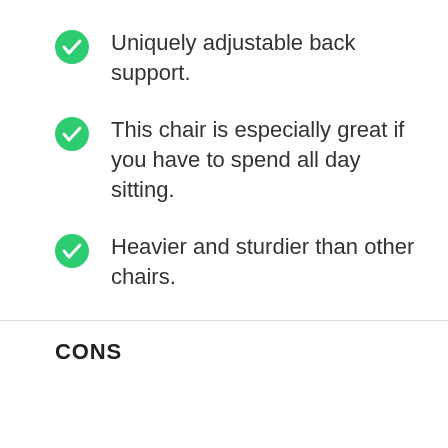Uniquely adjustable back support.
This chair is especially great if you have to spend all day sitting.
Heavier and sturdier than other chairs.
CONS